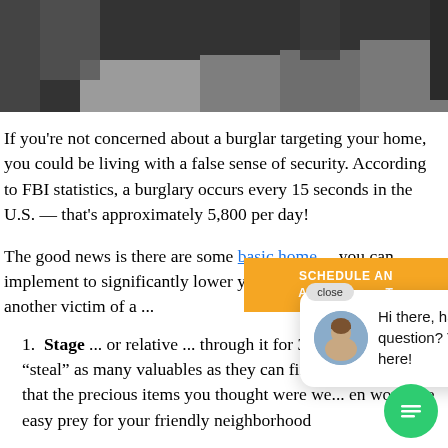[Figure (photo): Black and white outdoor photo showing a person and snowy or leafy environment at the top of the page]
If you're not concerned about a burglar targeting your home, you could be living with a false sense of security. According to FBI statistics, a burglary occurs every 15 seconds in the U.S. — that's approximately 5,800 per day!
The good news is there are some basic home ... you can implement to significantly lower your risk ... another victim of a ...
Stage ... or relative ... through it for 3-5 minutes and "steal" as many valuables as they can find. You might d... that the precious items you thought were we... en would be easy prey for your friendly neighborhood